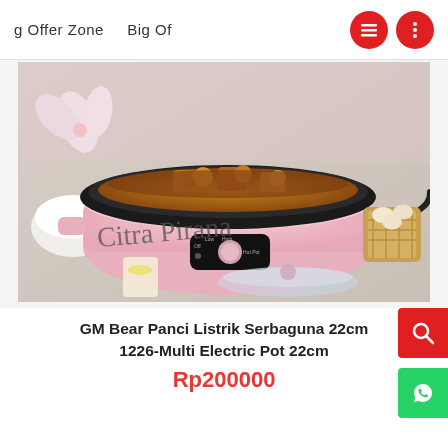g Offer Zone    Big Of
[Figure (photo): Pink electric multi-purpose cooking pot (GM Bear Panci Listrik Serbaguna 22cm) with black interior pan filled with cooked food including tofu and other ingredients. Knob control panel visible on front. Styled product shot with flowers, eggs, and lemon water in background. Script text 'Citra Pirana' overlaid on lower portion.]
GM Bear Panci Listrik Serbaguna 22cm 1226-Multi Electric Pot 22cm
Rp200000